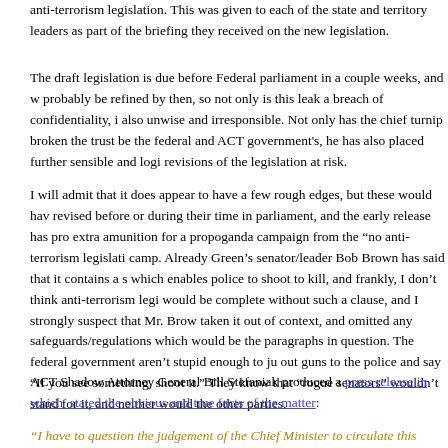anti-terrorism legislation. This was given to each of the state and territory leaders as part of the briefing they received on the new legislation.
The draft legislation is due before Federal parliament in a couple weeks, and will probably be refined by then, so not only is this leak a breach of confidentiality, it is also unwise and irresponsible. Not only has the chief turnip broken the trust between the federal and ACT government's, he has also placed further sensible and logical revisions of the legislation at risk.
I will admit that it does appear to have a few rough edges, but these would have been revised before or during their time in parliament, and the early release has provided extra amunition for a propoganda campaign from the "no anti-terrorism legislation" camp. Already Green's senator/leader Bob Brown has said that it contains a section which enables police to shoot to kill, and frankly, I don't think anti-terrorism legislation would be complete without such a clause, and I strongly suspect that Mr. Brown has taken it out of context, and omitted any safeguards/regulations which would be in the paragraphs in question. The federal government aren't stupid enough to just hand out guns to the police and say "If you see something, shoot it." They know that the "rogue senators" wouldn't stand for it, and neither would the other parties.
ACT Shadow Attorney General Bill Stefaniak produced a press release in which he stated the obvious and true facts of the matter:
"I have to question the judgement of the Chief Minister to circulate this